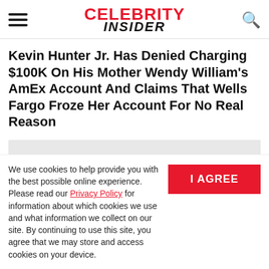Celebrity Insider
Kevin Hunter Jr. Has Denied Charging $100K On His Mother Wendy William's AmEx Account And Claims That Wells Fargo Froze Her Account For No Real Reason
[Figure (other): Gray advertisement placeholder rectangle]
We use cookies to help provide you with the best possible online experience. Please read our Privacy Policy for information about which cookies we use and what information we collect on our site. By continuing to use this site, you agree that we may store and access cookies on your device.